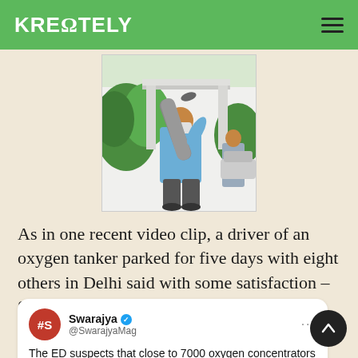KREΩTELY
[Figure (photo): A man wearing a blue shirt and face mask carries a large cylindrical oxygen cylinder on his shoulder outdoors near a building with greenery.]
As in one recent video clip, a driver of an oxygen tanker parked for five days with eight others in Delhi said with some satisfaction – Sab shaant hai.
Swarajya @SwarajyaMag
The ED suspects that close to 7000 oxygen concentrators were stockpiled by Navneet Kalra and his